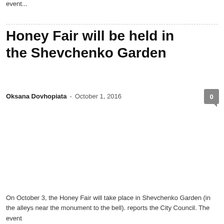event...
Honey Fair will be held in the Shevchenko Garden
Oksana Dovhopiata - October 1, 2016
On October 3, the Honey Fair will take place in Shevchenko Garden (in the alleys near the monument to the bell). reports the City Council. The event